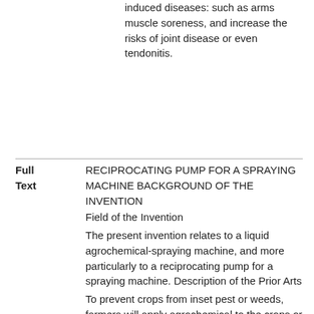induced diseases: such as arms muscle soreness, and increase the risks of joint disease or even tendonitis.
Full Text
RECIPROCATING PUMP FOR A SPRAYING MACHINE BACKGROUND OF THE INVENTION
Field of the Invention
The present invention relates to a liquid agrochemical-spraying machine, and more particularly to a reciprocating pump for a spraying machine. Description of the Prior Arts
To prevent crops from inset pest or weeds, farmers will apply agrochemical to the crops or the soil.
And there are generally two methods of agrochemical application; the first one is to spread solid agrochemical (such as granular, powder or the like agrochemical) by hand. The second one is to spray liquid agrochemical by a spraying machine, such as the device as disclosed in PRC Patent No. 01236900.4.